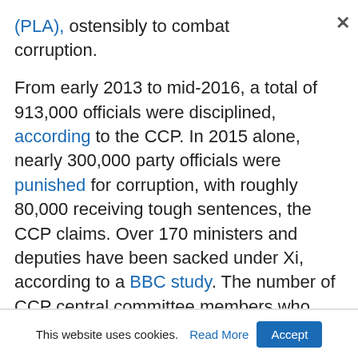(PLA), ostensibly to combat corruption.
From early 2013 to mid-2016, a total of 913,000 officials were disciplined, according to the CCP. In 2015 alone, nearly 300,000 party officials were punished for corruption, with roughly 80,000 receiving tough sentences, the CCP claims. Over 170 ministers and deputies have been sacked under Xi, according to a BBC study. The number of CCP central committee members who have been
This website uses cookies. Read More Accept